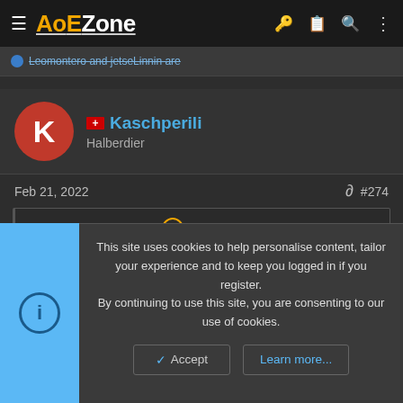AoEZone
Leomontero and jetseLinnin are
Kaschperili
Halberdier
Feb 21, 2022  #274
SuperskinnyBLS said: ↑
Aoe 4 doesn't have a lot of potential.
This is not an unpopular opinion.
This site uses cookies to help personalise content, tailor your experience and to keep you logged in if you register. By continuing to use this site, you are consenting to our use of cookies.
Accept  Learn more...